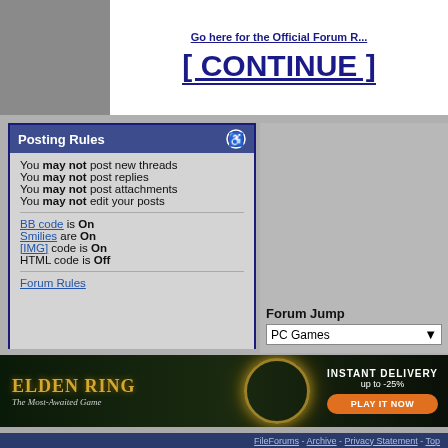Go here for the Official Forum R...
[ CONTINUE ]
Posting Rules
You may not post new threads
You may not post replies
You may not post attachments
You may not edit your posts
BB code is On
Smilies are On
[IMG] code is On
HTML code is Off
Forum Rules
Forum Jump
PC Games
[Figure (photo): Elden Ring advertisement banner: dark fantasy scene with golden ring light, text 'ELDEN RING The Most-Awaited Game', 'INSTANT DELIVERY up to -25%', orange 'PLAY IT NOW' button]
All times are GMT -7. The time now is 02:48.
FileForums - Archive - Privacy Statement - Top
Powered by vBulletin® Version 3.8.11
Copyright ©2000 - 2022, vBulletin Solutions Inc.
Copyright 2000-2020, FileForums @ https://fileforums.com